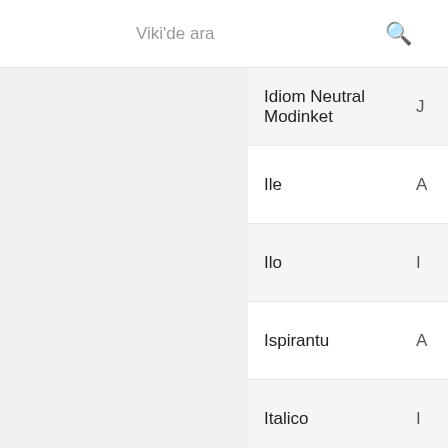Viki'de ara
Idiom Neutral Modinket
Ile
Ilo
Ispirantu
Italico
Median
Nummer
Perfektsprache
Salvador
Unial
Antido II